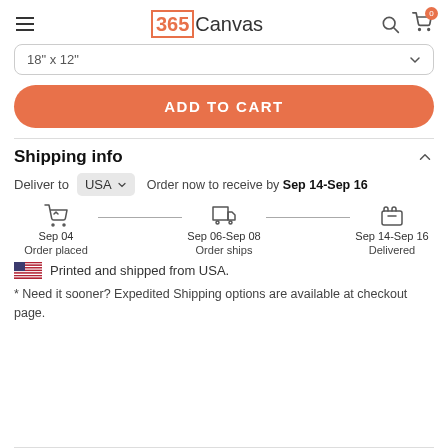365Canvas
18" x 12"
ADD TO CART
Shipping info
Deliver to USA — Order now to receive by Sep 14-Sep 16
Sep 04 — Order placed | Sep 06-Sep 08 — Order ships | Sep 14-Sep 16 — Delivered
Printed and shipped from USA.
* Need it sooner? Expedited Shipping options are available at checkout page.